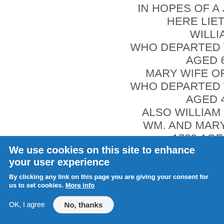IN HOPES OF A JOYFUL RESURRE[CTION]
HERE LIETH INTERRED
WILLIAM TUCK
WHO DEPARTED THIS LIFE OCT. THE [?]
AGED 69 YEARS
MARY WIFE OF MR WILLIAM TU[CK]
WHO DEPARTED THIS LIFE OCT. THE [?]
AGED 44 YEARS
ALSO WILLIAM SON OF THE ABO[VE]
WM. AND MARY TUCK DIED OCT[.]
1789 AGED 25 YEARS
We use cookies on this site to enhance your user experience
By clicking any link on this page you are giving your consent for us to set cookies. More info
OK, I agree
No, thanks